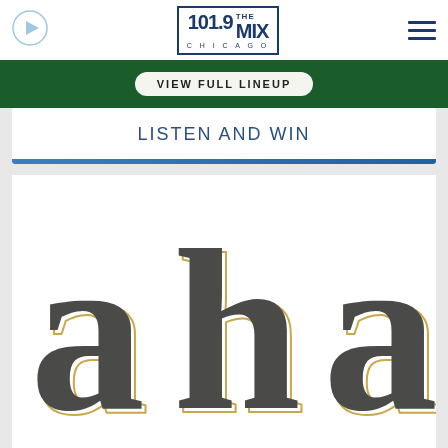[Figure (logo): 101.9 THE MIX CHICAGO radio station logo in navy blue, rectangular border]
[Figure (illustration): Play button circle icon on left side of nav bar]
[Figure (other): Hamburger menu icon (three horizontal lines) on right side of nav bar]
[Figure (infographic): Green banner with VIEW FULL LINEUP button]
LISTEN AND WIN
[Figure (illustration): a-ha band logo in large dark gray stylized lowercase letters with gold outline shadow effect, cropped]